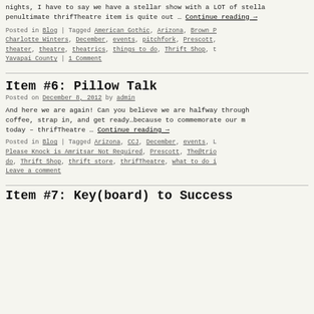nights, I have to say we have a stellar show with a LOT of stellar penultimate thrifTheatre item is quite out … Continue reading →
Posted in Blog | Tagged American Gothic, Arizona, Brown P, Charlotte Winters, December, events, pitchfork, Prescott, theater, theatre, theatrics, things to do, Thrift Shop, t, Yavapai County | 1 Comment
Item #6: Pillow Talk
Posted on December 8, 2012 by admin
And here we are again! Can you believe we are halfway through coffee, strap in, and get ready…because to commemorate our m today – thrifTheatre … Continue reading →
Posted in Blog | Tagged Arizona, CCJ, December, events, L Please Knock is Amritsar Not Required, Prescott, The@trio do, Thrift Shop, thrift store, thrifTheatre, what to do i Leave a comment
Item #7: Key(board) to Success